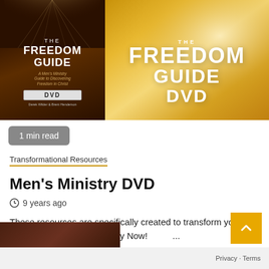[Figure (illustration): Book cover of 'The Freedom Guide' DVD with dark brown background and light rays, subtitle 'A Men's Ministry Guide to Discovering Freedom in Christ', authors Derek Wilder & Brent Henderson]
[Figure (illustration): DVD cover with golden/amber gradient background showing large white text 'THE FREEDOM GUIDE DVD']
1 min read
Transformational Resources
Men's Ministry DVD
9 years ago
These resources are specifically created to transform your men and your Men's Ministry Now!
Privacy · Terms